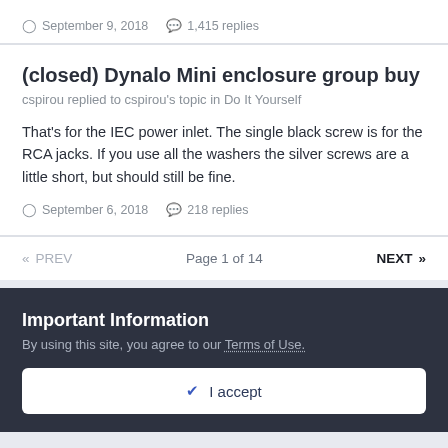September 9, 2018   1,415 replies
(closed) Dynalo Mini enclosure group buy
cspirou replied to cspirou's topic in Do It Yourself
That's for the IEC power inlet. The single black screw is for the RCA jacks. If you use all the washers the silver screws are a little short, but should still be fine.
September 6, 2018   218 replies
« PREV   Page 1 of 14   NEXT »
Important Information
By using this site, you agree to our Terms of Use.
✔ I accept